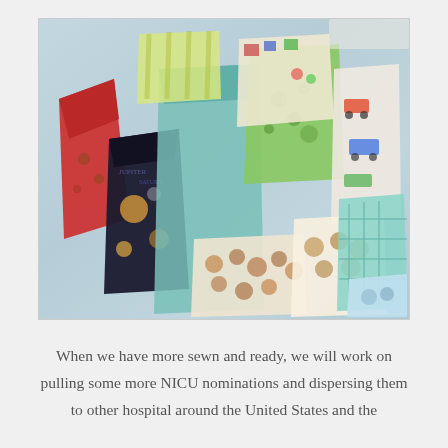[Figure (photo): A collection of colorful patterned baby garments/onesies spread out on a light blue surface. The garments feature various fabric patterns including animals, polka dots, planets/space theme, vehicles, and other children's prints in colors like red, black, teal, green, blue, and white.]
When we have more sewn and ready, we will work on pulling some more NICU nominations and dispersing them to other hospital around the United States and the